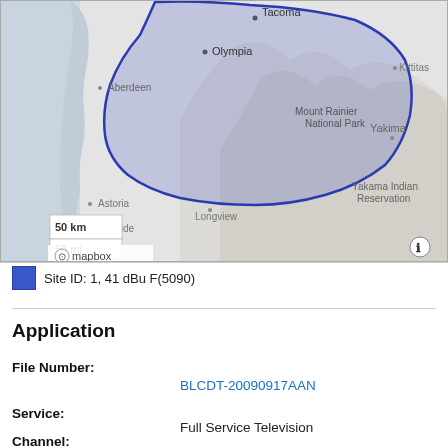[Figure (map): Map of western Washington state showing a shaded blue coverage area centered around Tacoma/Olympia area. Notable locations labeled: Tacoma, Olympia, Aberdeen, Mount Rainier National Park, Kittitas, Yakima, Yakama Indian Reservation, Astoria, Longview, Seaside. Map includes scale bars (50 km, 50 mi) and Mapbox attribution. A blue outlined polygon indicates the broadcast coverage area over the Puget Sound region.]
Site ID: 1, 41 dBu F(5090)
Application
File Number:
BLCDT-20090917AAN
Service:
Full Service Television
Channel:
36
Class: